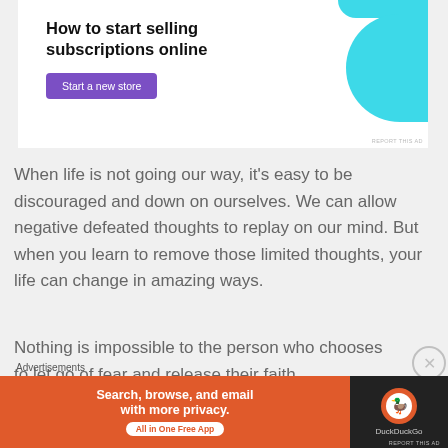[Figure (screenshot): Advertisement banner with text 'How to start selling subscriptions online', a purple button 'Start a new store', and teal decorative shapes on white background]
When life is not going our way, it's easy to be discouraged and down on ourselves. We can allow negative defeated thoughts to replay on our mind. But when you learn to remove those limited thoughts, your life can change in amazing ways.
Nothing is impossible to the person who chooses to let go of fear and release their faith.
Advertisements
[Figure (screenshot): DuckDuckGo advertisement banner: 'Search, browse, and email with more privacy. All in One Free App' with DuckDuckGo logo on dark background]